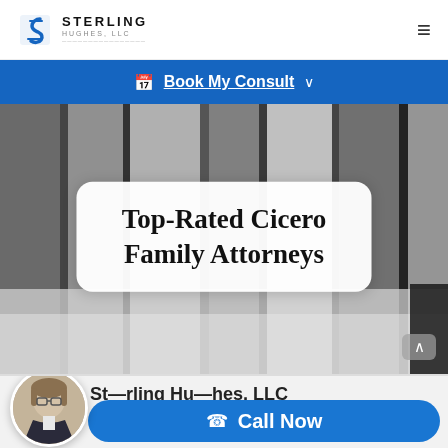Sterling Hughes, LLC — Navigation header with logo and hamburger menu
📅 Book My Consult ∨
[Figure (photo): Black and white photograph of what appears to be law books or binders stacked, serving as hero background image]
Top-Rated Cicero Family Attorneys
[Figure (photo): Circular portrait photo of a female attorney with glasses and dark blazer]
Sterling Hughes, LLC
📞 Call Now